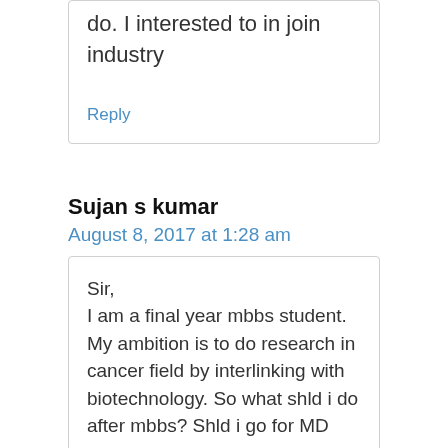do. I interested to in join industry
Reply
Sujan s kumar
August 8, 2017 at 1:28 am
Sir,
I am a final year mbbs student. My ambition is to do research in cancer field by interlinking with biotechnology. So what shld i do after mbbs? Shld i go for MD